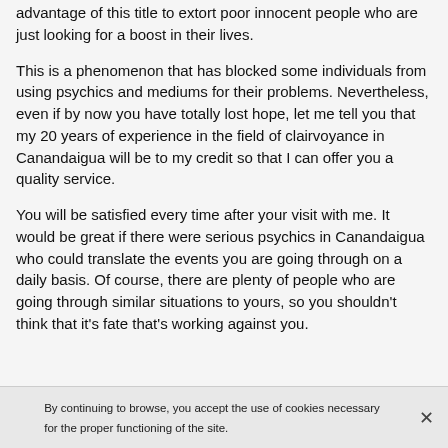advantage of this title to extort poor innocent people who are just looking for a boost in their lives.
This is a phenomenon that has blocked some individuals from using psychics and mediums for their problems. Nevertheless, even if by now you have totally lost hope, let me tell you that my 20 years of experience in the field of clairvoyance in Canandaigua will be to my credit so that I can offer you a quality service.
You will be satisfied every time after your visit with me. It would be great if there were serious psychics in Canandaigua who could translate the events you are going through on a daily basis. Of course, there are plenty of people who are going through similar situations to yours, so you shouldn't think that it's fate that's working against you.
By continuing to browse, you accept the use of cookies necessary for the proper functioning of the site.